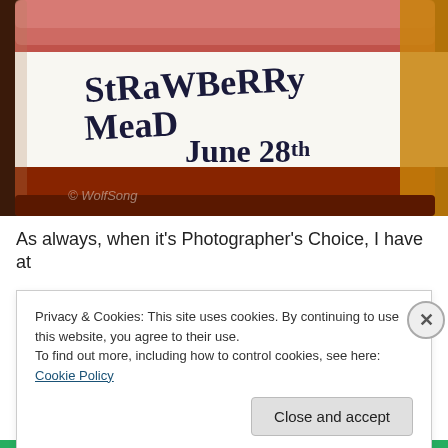[Figure (photo): Close-up photo of a mason jar with a white label handwritten in black marker reading 'Strawberry Mead June 28th'. The jar contains a reddish-brown liquid. Another jar is partially visible on the right. A watermark reads '© WolfSong' in the lower left of the image.]
As always, when it's Photographer's Choice, I have at
Privacy & Cookies: This site uses cookies. By continuing to use this website, you agree to their use.
To find out more, including how to control cookies, see here: Cookie Policy